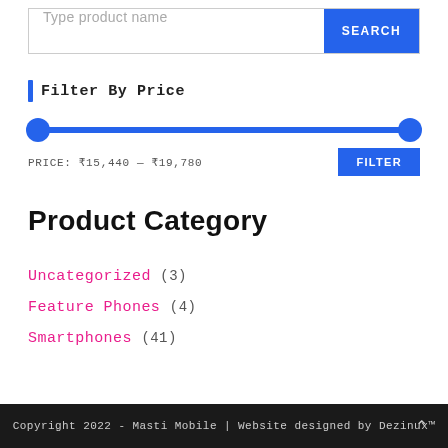[Figure (screenshot): Search bar with placeholder 'Type product name' and a blue SEARCH button]
Filter By Price
[Figure (other): Price range slider with two blue circle handles spanning the full width]
PRICE: ₹15,440 — ₹19,780
Product Category
Uncategorized (3)
Feature Phones (4)
Smartphones (41)
Copyright 2022 - Masti Mobile | Website designed by Dezinux™